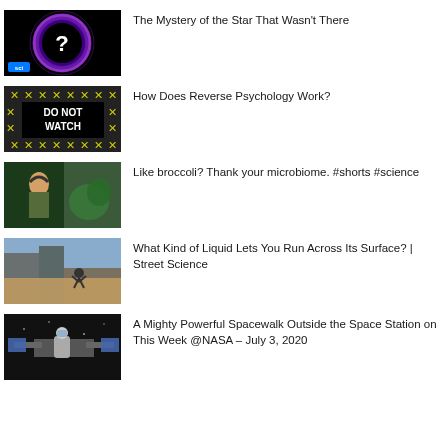The Mystery of the Star That Wasn't There
How Does Reverse Psychology Work?
Like broccoli? Thank your microbiome. #shorts #science
What Kind of Liquid Lets You Run Across Its Surface? | Street Science
A Mighty Powerful Spacewalk Outside the Space Station on This Week @NASA – July 3, 2020